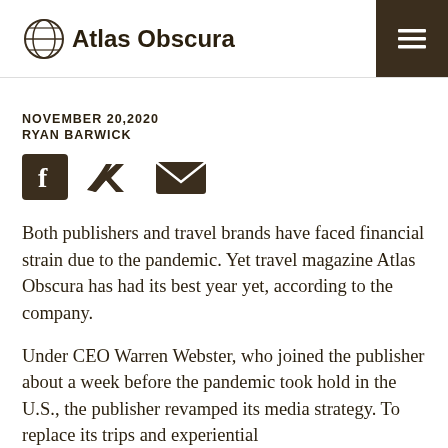Atlas Obscura
NOVEMBER 20,2020
RYAN BARWICK
[Figure (infographic): Social share icons: Facebook, Twitter, Email]
Both publishers and travel brands have faced financial strain due to the pandemic. Yet travel magazine Atlas Obscura has had its best year yet, according to the company.
Under CEO Warren Webster, who joined the publisher about a week before the pandemic took hold in the U.S., the publisher revamped its media strategy. To replace its trips and experiential